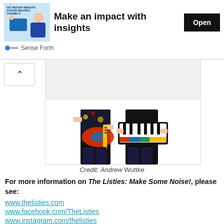[Figure (screenshot): Advertisement banner: 'Make an impact with insights' with an Open button and Sense Forth branding]
[Figure (photo): Two performers holding colorful toy guitar and keyboard instruments against white background]
Credit: Andrew Wuttke
For more information on The Listies: Make Some Noise!, please see:
www.thelisties.com
www.facebook.com/TheListies
www.instagram.com/thelisties